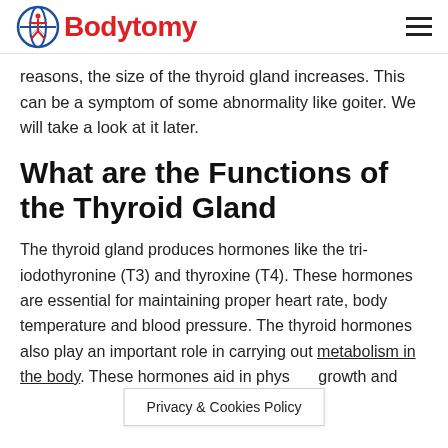Bodytomy
reasons, the size of the thyroid gland increases. This can be a symptom of some abnormality like goiter. We will take a look at it later.
What are the Functions of the Thyroid Gland
The thyroid gland produces hormones like the tri-iodothyronine (T3) and thyroxine (T4). These hormones are essential for maintaining proper heart rate, body temperature and blood pressure. The thyroid hormones also play an important role in carrying out metabolism in the body. These hormones aid in phys… growth and
Privacy & Cookies Policy